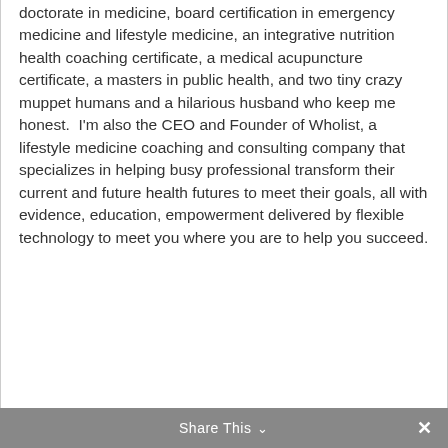doctorate in medicine, board certification in emergency medicine and lifestyle medicine, an integrative nutrition health coaching certificate, a medical acupuncture certificate, a masters in public health, and two tiny crazy muppet humans and a hilarious husband who keep me honest.  I'm also the CEO and Founder of Wholist, a lifestyle medicine coaching and consulting company that specializes in helping busy professional transform their current and future health futures to meet their goals, all with evidence, education, empowerment delivered by flexible technology to meet you where you are to help you succeed.
Share This ∨  ✕